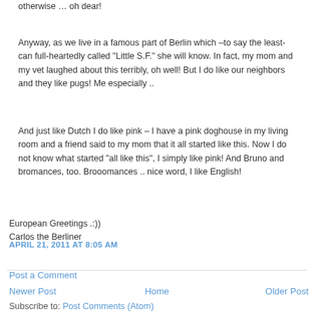otherwise … oh dear!
Anyway, as we live in a famous part of Berlin which –to say the least- can full-heartedly called "Little S.F." she will know. In fact, my mom and my vet laughed about this terribly, oh well! But I do like our neighbors and they like pugs! Me especially ..
And just like Dutch I do like pink – I have a pink doghouse in my living room and a friend said to my mom that it all started like this. Now I do not know what started "all like this", I simply like pink! And Bruno and bromances, too. Brooomances .. nice word, I like English!
European Greetings .:))
Carlos the Berliner
APRIL 21, 2011 AT 8:05 AM
Post a Comment
Newer Post
Home
Older Post
Subscribe to: Post Comments (Atom)